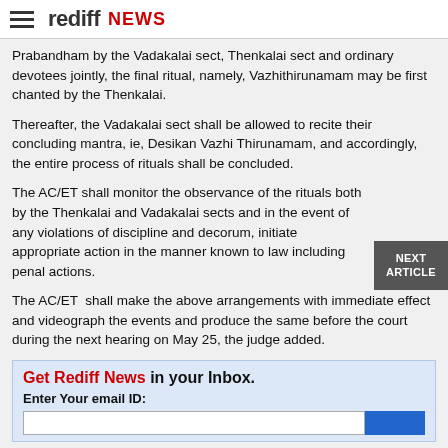rediff NEWS
Prabandham by the Vadakalai sect, Thenkalai sect and ordinary devotees jointly, the final ritual, namely, Vazhithirunamam may be first chanted by the Thenkalai.
Thereafter, the Vadakalai sect shall be allowed to recite their concluding mantra, ie, Desikan Vazhi Thirunamam, and accordingly, the entire process of rituals shall be concluded.
The AC/ET shall monitor the observance of the rituals both by the Thenkalai and Vadakalai sects and in the event of any violations of discipline and decorum, initiate appropriate action in the manner known to law including penal actions.
The AC/ET  shall make the above arrangements with immediate effect and videograph the events and produce the same before the court during the next hearing on May 25, the judge added.
Get Rediff News in your Inbox.
Enter Your email ID: